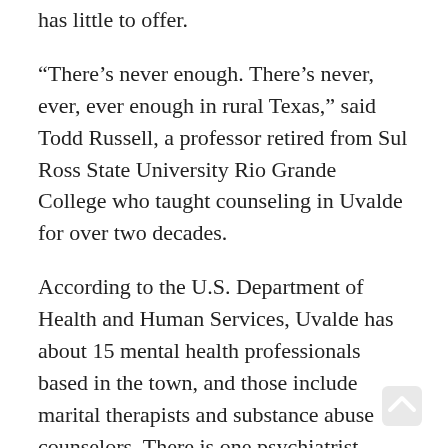has little to offer.
“There’s never enough. There’s never, ever, ever enough in rural Texas,” said Todd Russell, a professor retired from Sul Ross State University Rio Grande College who taught counseling in Uvalde for over two decades.
According to the U.S. Department of Health and Human Services, Uvalde has about 15 mental health professionals based in the town, and those include marital therapists and substance abuse counselors. There is one psychiatrist affiliated with Uvalde Memorial Hospital, where emergency room